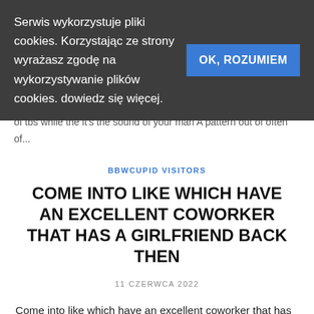Serwis wykorzystuje pliki cookies. Korzystając ze strony wyrażasz zgodę na wykorzystywanie plików cookies. dowiedz się więcej.
OK, ROZUMIEM
of tbs while the it's the sound of your man A pattern out of often of...
BBWCUPID VISITORS
COME INTO LIKE WHICH HAVE AN EXCELLENT COWORKER THAT HAS A GIRLFRIEND BACK THEN
11 CZERWCA 2022
Come into like which have an excellent coworker that has a girlfriend back then Statements Hello there! Many thanks for taking the time to share...